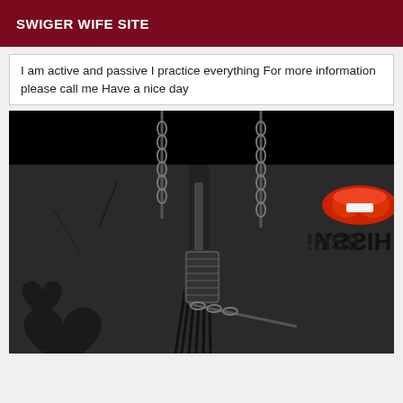SWIGER WIFE SITE
I am active and passive I practice everything For more information please call me Have a nice day
[Figure (photo): A dark photo showing BDSM-themed props including chains, a flogger/whip, and a bedazzled paddle against a stone wall background, with a black heart graphic and red lips with 'HISSY' text overlay in the upper right corner.]